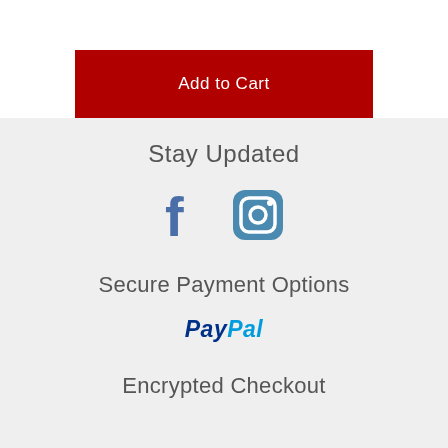Add to Cart
Stay Updated
[Figure (logo): Facebook and Instagram social media icons in steel blue color]
Secure Payment Options
[Figure (logo): PayPal logo in blue italic bold text]
Encrypted Checkout